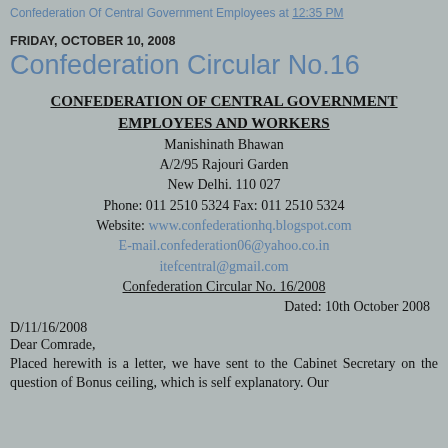Confederation Of Central Government Employees at 12:35 PM
FRIDAY, OCTOBER 10, 2008
Confederation Circular No.16
CONFEDERATION OF CENTRAL GOVERNMENT EMPLOYEES AND WORKERS
Manishinath Bhawan
A/2/95 Rajouri Garden
New Delhi. 110 027
Phone: 011 2510 5324 Fax: 011 2510 5324
Website: www.confederationhq.blogspot.com
E-mail.confederation06@yahoo.co.in
itefcentral@gmail.com
Confederation Circular No. 16/2008
Dated: 10th October 2008
D/11/16/2008
Dear Comrade,
Placed herewith is a letter, we have sent to the Cabinet Secretary on the question of Bonus ceiling, which is self explanatory. Our